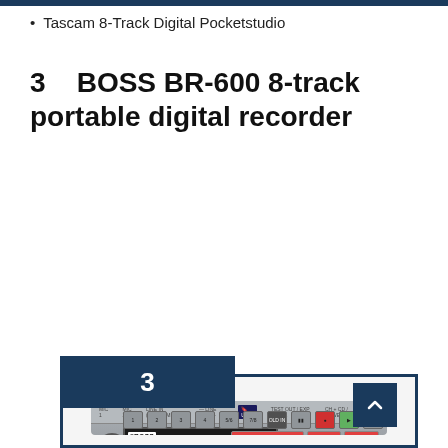Tascam 8-Track Digital Pocketstudio
3    BOSS BR-600 8-track portable digital recorder
[Figure (photo): Photo of the BOSS BR-600 8-track portable digital recorder device showing its control panel with faders, LCD display showing 032-1-00 J132.0 / 00:01:05-13.6, knobs, buttons for recording effects and drums, and transport controls. A numbered badge showing '3' is overlaid in the top-left corner of the image frame.]